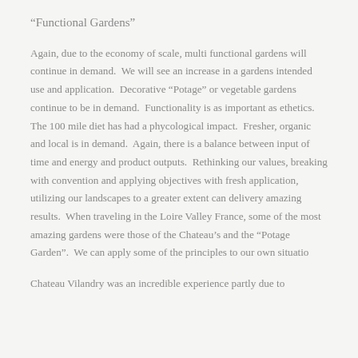“Functional Gardens”
Again, due to the economy of scale, multi functional gardens will continue in demand.  We will see an increase in a gardens intended use and application.  Decorative “Potage” or vegetable gardens continue to be in demand.  Functionality is as important as ethetics.  The 100 mile diet has had a phycological impact.  Fresher, organic and local is in demand.  Again, there is a balance between input of time and energy and product outputs.  Rethinking our values, breaking with convention and applying objectives with fresh application, utilizing our landscapes to a greater extent can delivery amazing results.  When traveling in the Loire Valley France, some of the most amazing gardens were those of the Chateau’s and the “Potage Garden”.  We can apply some of the principles to our own situatio
Chateau Vilandry was an incredible experience partly due to